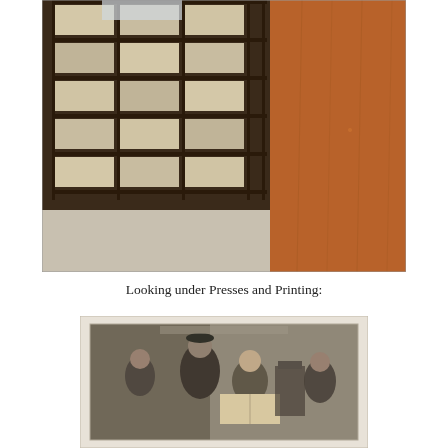[Figure (photo): Photograph of library archive shelves filled with folders and documents, with a wooden panel or door on the right side.]
Looking under Presses and Printing:
[Figure (photo): Historical engraving or illustration depicting figures in period clothing examining a book or manuscript, likely representing early printing or press work.]